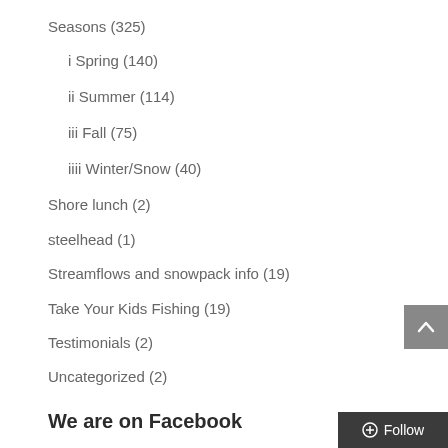Seasons (325)
i Spring (140)
ii Summer (114)
iii Fall (75)
iiii Winter/Snow (40)
Shore lunch (2)
steelhead (1)
Streamflows and snowpack info (19)
Take Your Kids Fishing (19)
Testimonials (2)
Uncategorized (2)
We are on Facebook